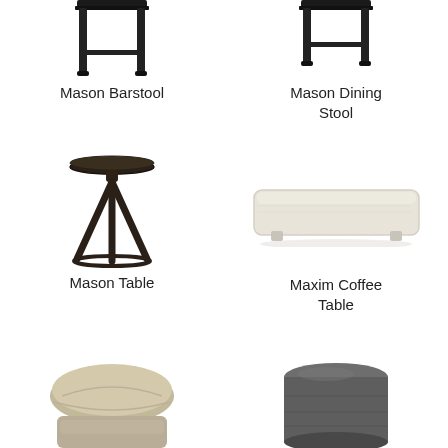[Figure (photo): Mason Barstool - dark metal frame barstool, top portion visible]
Mason Barstool
[Figure (photo): Mason Dining Stool - dark metal frame dining stool, top portion visible]
Mason Dining Stool
[Figure (photo): Mason Table - dark wood round pedestal side table with tripod base]
Mason Table
[Figure (photo): Maxim Coffee Table - long rectangular upholstered bench/coffee table in cream/beige fabric]
Maxim Coffee Table
[Figure (photo): Partial view of a beige/tan upholstered ottoman or cushioned seat]
[Figure (photo): Partial view of a dark grey cylindrical upholstered pouf/ottoman]